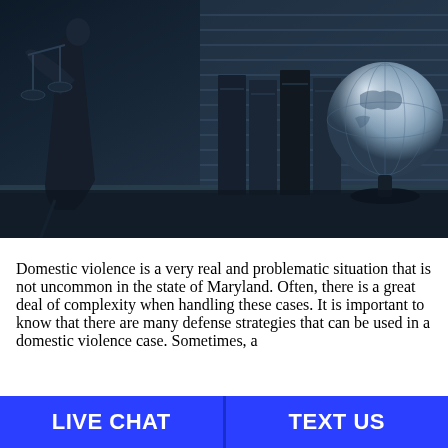[Figure (photo): Black and white / blue-tinted photo of a Lady Justice statue holding scales, stacked law books, and a globe on a desk with window blinds in background.]
Domestic violence is a very real and problematic situation that is not uncommon in the state of Maryland. Often, there is a great deal of complexity when handling these cases. It is important to know that there are many defense strategies that can be used in a domestic violence case. Sometimes, a
LIVE CHAT   TEXT US